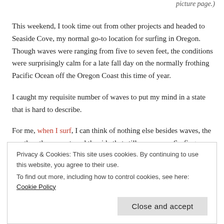picture page.)
This weekend, I took time out from other projects and headed to Seaside Cove, my normal go-to location for surfing in Oregon. Though waves were ranging from five to seven feet, the conditions were surprisingly calm for a late fall day on the normally frothing Pacific Ocean off the Oregon Coast this time of year.
I caught my requisite number of waves to put my mind in a state that is hard to describe.
For me, when I surf, I can think of nothing else besides waves, the weather, the current, and the ride that still may come. Surfing, which I started in earnest in 2016, has been a way for me to let go of stress. It
Privacy & Cookies: This site uses cookies. By continuing to use this website, you agree to their use.
To find out more, including how to control cookies, see here: Cookie Policy
Close and accept